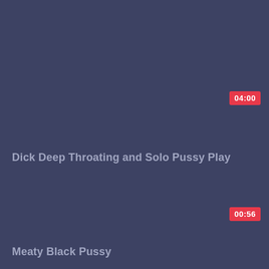[Figure (screenshot): Video thumbnail placeholder - dark blue-gray background, top card]
04:00
Dick Deep Throating and Solo Pussy Play
[Figure (screenshot): Video thumbnail placeholder - dark blue-gray background, bottom card]
00:56
Meaty Black Pussy